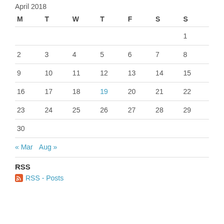April 2018
| M | T | W | T | F | S | S |
| --- | --- | --- | --- | --- | --- | --- |
|  |  |  |  |  |  | 1 |
| 2 | 3 | 4 | 5 | 6 | 7 | 8 |
| 9 | 10 | 11 | 12 | 13 | 14 | 15 |
| 16 | 17 | 18 | 19 | 20 | 21 | 22 |
| 23 | 24 | 25 | 26 | 27 | 28 | 29 |
| 30 |  |  |  |  |  |  |
« Mar   Aug »
RSS
RSS - Posts